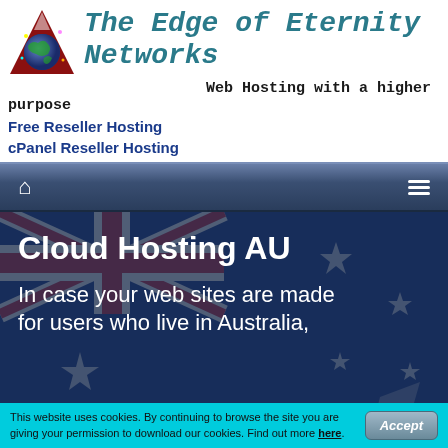The Edge of Eternity Networks
Web Hosting with a higher purpose
Free Reseller Hosting
cPanel Reseller Hosting
[Figure (infographic): Navigation bar with home icon and hamburger menu icon on dark blue gradient background]
Cloud Hosting AU
In case your web sites are made for users who live in Australia,
This website uses cookies. By continuing to browse the site you are giving your permission to download our cookies. Find out more here.